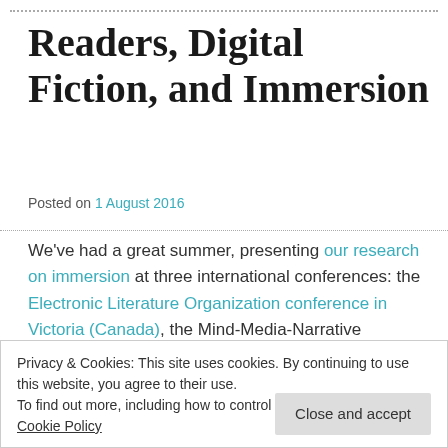Readers, Digital Fiction, and Immersion
Posted on 1 August 2016
We've had a great summer, presenting our research on immersion at three international conferences: the Electronic Literature Organization conference in Victoria (Canada), the Mind-Media-Narrative conference in Warsaw (Poland), and the Poetics and Linguistics Association
Privacy & Cookies: This site uses cookies. By continuing to use this website, you agree to their use.
To find out more, including how to control cookies, see here: Cookie Policy